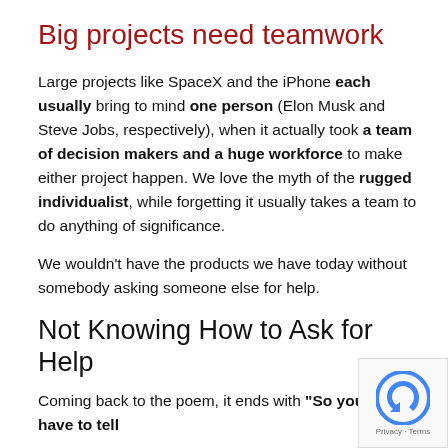Big projects need teamwork
Large projects like SpaceX and the iPhone each usually bring to mind one person (Elon Musk and Steve Jobs, respectively), when it actually took a team of decision makers and a huge workforce to make either project happen. We love the myth of the rugged individualist, while forgetting it usually takes a team to do anything of significance.
We wouldn't have the products we have today without somebody asking someone else for help.
Not Knowing How to Ask for Help
Coming back to the poem, it ends with “So you will have to tell